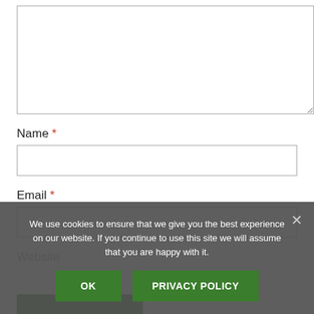[Figure (screenshot): Textarea form field (resizable, empty) at top of page]
Name *
[Figure (screenshot): Name input text field (empty, bordered)]
Email *
[Figure (screenshot): Email input text field (empty, bordered, partially visible)]
Website
We use cookies to ensure that we give you the best experience on our website. If you continue to use this site we will assume that you are happy with it.
OK
PRIVACY POLICY